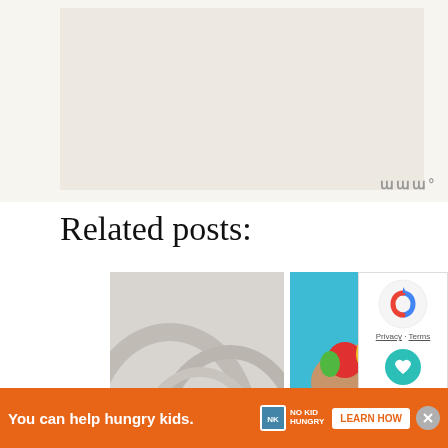[Figure (other): Top advertisement placeholder area with light beige background]
Related posts:
[Figure (photo): Grey placeholder image for e-cig device anatomy post]
Device anatomy. E-cig and Its Components
[Figure (photo): Hands holding colorful vegetables and fruits - peppers, tomato, broccoli]
Practical Ways To Improve Your Digestive
Privacy · Terms
1
Privacy & Cookies Policy
WHAT'S NEXT → Paleo Meal Plan
You can help hungry kids.
LEARN HOW